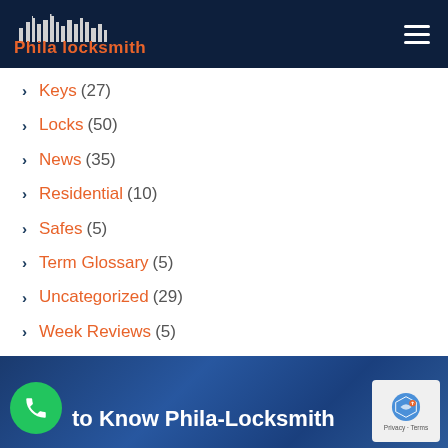Phila locksmith
Keys (27)
Locks (50)
News (35)
Residential (10)
Safes (5)
Term Glossary (5)
Uncategorized (29)
Week Reviews (5)
to Know Phila-Locksmith